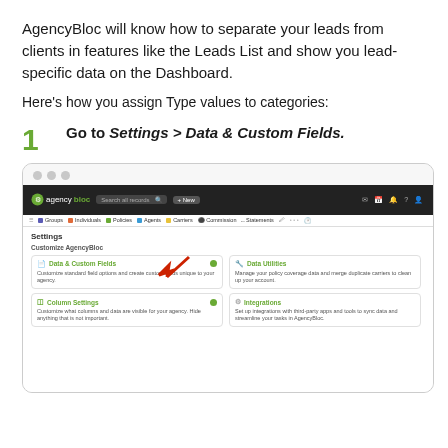AgencyBloc will know how to separate your leads from clients in features like the Leads List and show you lead-specific data on the Dashboard.
Here’s how you assign Type values to categories:
1 Go to Settings > Data & Custom Fields.
[Figure (screenshot): Screenshot of AgencyBloc application showing the Settings page with Data & Custom Fields option highlighted by a red arrow, along with Data Utilities, Column Settings, and Integrations options.]